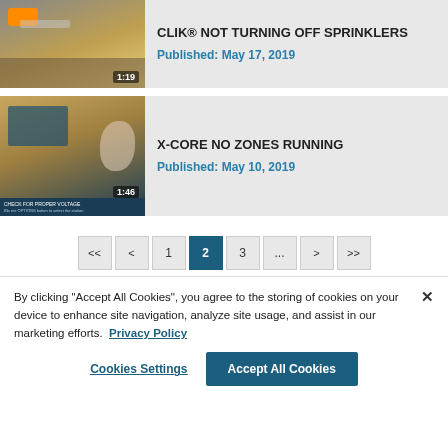[Figure (screenshot): Video thumbnail showing wiring/electrical connections with duration 1:19]
CLIK® NOT TURNING OFF SPRINKLERS
Published: May 17, 2019
[Figure (screenshot): Video thumbnail showing a hand operating an irrigation controller with duration 1:46]
X-CORE NO ZONES RUNNING
Published: May 10, 2019
Pagination: << < 1 2 3 ... > >>
By clicking "Accept All Cookies", you agree to the storing of cookies on your device to enhance site navigation, analyze site usage, and assist in our marketing efforts.   Privacy Policy